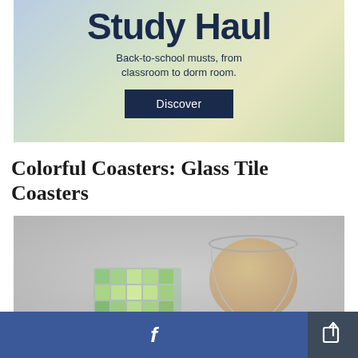[Figure (infographic): Back-to-school 'Study Haul' advertisement banner with gradient background (blue to green-yellow). Contains large text 'Study Haul', subtitle 'Back-to-school musts, from classroom to dorm room.' and a dark navy 'Discover' button.]
Colorful Coasters: Glass Tile Coasters
[Figure (photo): Photo of colorful green glass mosaic tile coasters with a stemless wine glass containing amber liquid, shot from above on a light gray stone background.]
[Figure (infographic): Social sharing footer bar. Left large button is Facebook blue with 'f' icon. Right smaller button is dark gray with a share/export icon.]